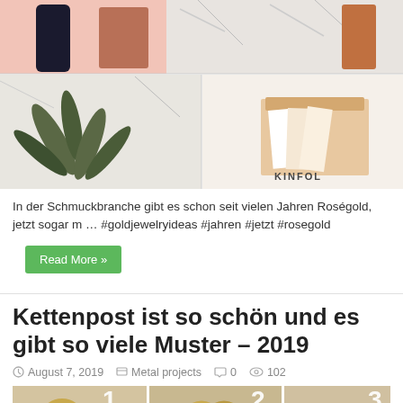[Figure (photo): Photo collage of rose gold and marble objects, accessories and stationery items]
In der Schmuckbranche gibt es schon seit vielen Jahren Roségold, jetzt sogar m … #goldjewelryideas #jahren #jetzt #rosegold
Read More »
Kettenpost ist so schön und es gibt so viele Muster – 2019
August 7, 2019   Metal projects   0   102
[Figure (photo): Photo showing gold chain jewelry steps numbered 1, 2, 3]